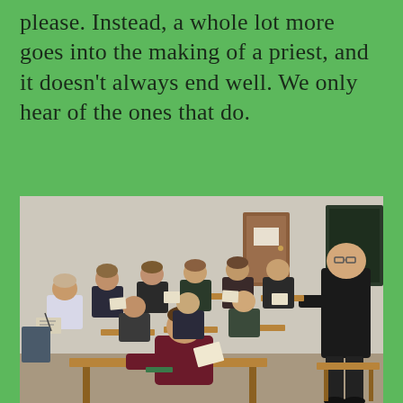everyone is well-behaved and eager to please. Instead, a whole lot more goes into the making of a priest, and it doesn't always end well. We only hear of the ones that do.
[Figure (photo): A classroom scene showing approximately 15 male students seated at wooden desks, with a large man in a black shirt standing at the front right of the room appearing to teach or lecture. The room has beige walls, a brown door, and a chalkboard visible in the background.]